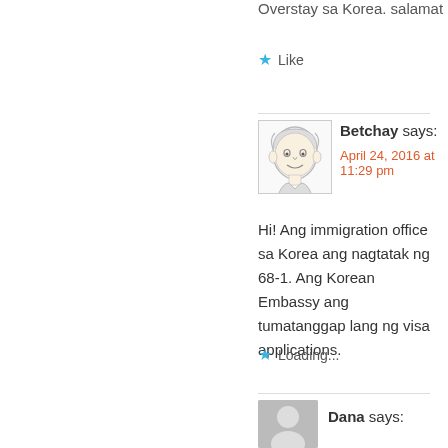Overstay sa Korea. salamat
Like
Betchay says:
April 24, 2016 at 11:29 pm
Hi! Ang immigration office sa Korea ang nagtatak ng 68-1. Ang Korean Embassy ang tumatanggap lang ng visa applications.
Loading...
Dana says: